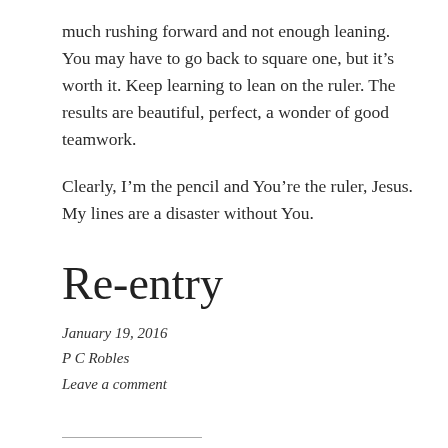much rushing forward and not enough leaning. You may have to go back to square one, but it's worth it. Keep learning to lean on the ruler. The results are beautiful, perfect, a wonder of good teamwork.
Clearly, I'm the pencil and You're the ruler, Jesus. My lines are a disaster without You.
Re-entry
January 19, 2016
P C Robles
Leave a comment